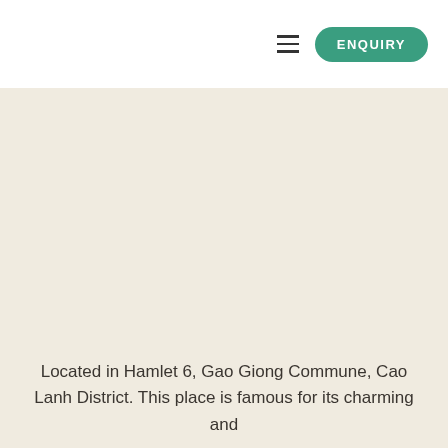ENQUIRY
[Figure (other): Large beige/cream colored background area serving as image placeholder]
Located in Hamlet 6, Gao Giong Commune, Cao Lanh District. This place is famous for its charming and